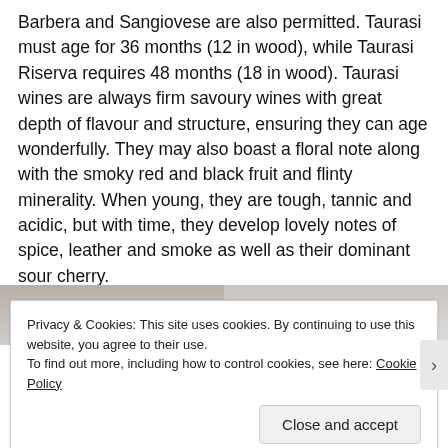Barbera and Sangiovese are also permitted. Taurasi must age for 36 months (12 in wood), while Taurasi Riserva requires 48 months (18 in wood). Taurasi wines are always firm savoury wines with great depth of flavour and structure, ensuring they can age wonderfully. They may also boast a floral note along with the smoky red and black fruit and flinty minerality. When young, they are tough, tannic and acidic, but with time, they develop lovely notes of spice, leather and smoke as well as their dominant sour cherry.
[Figure (photo): Partially visible photo strip showing two images side by side, obscured by cookie consent overlay]
Privacy & Cookies: This site uses cookies. By continuing to use this website, you agree to their use.
To find out more, including how to control cookies, see here: Cookie Policy
Close and accept